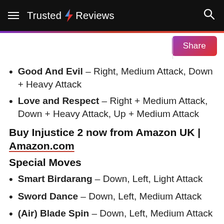Trusted Reviews
Good And Evil – Right, Medium Attack, Down + Heavy Attack
Love and Respect – Right + Medium Attack, Down + Heavy Attack, Up + Medium Attack
Buy Injustice 2 now from Amazon UK | Amazon.com
Special Moves
Smart Birdarang – Down, Left, Light Attack
Sword Dance – Down, Left, Medium Attack
(Air) Blade Spin – Down, Left, Medium Attack
(air) Close Blade Spin – Down, Left, Medium